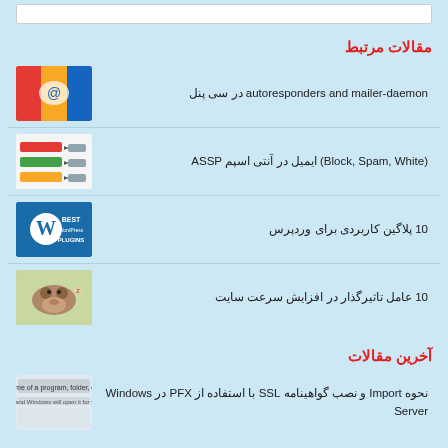مقالات مرتبط
autoresponders and mailer-daemon در سی پنل
(Block, Spam, White) ایمیل در آنتی اسپم ASSP
10 پلاگین کاربردی برای وردپرس
10 عامل تاثیرگذار در افزایش سرعت سایت
آخرین مقالات
نحوه Import و نصب گواهینامه SSL با استفاده از PFX در Windows Server